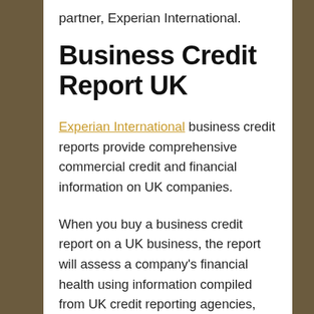partner, Experian International.
Business Credit Report UK
Experian International business credit reports provide comprehensive commercial credit and financial information on UK companies.
When you buy a business credit report on a UK business, the report will assess a company's financial health using information compiled from UK credit reporting agencies, banks, creditors, and tradelines. You will see information